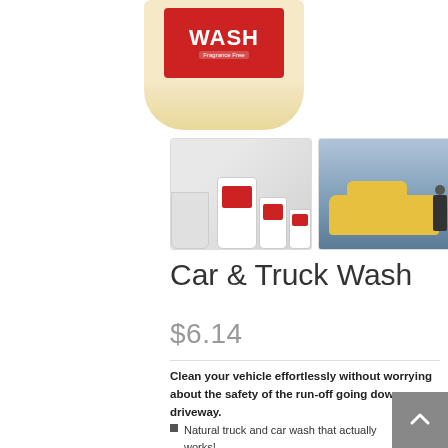[Figure (photo): Product photo of Car & Truck Wash bottle with red label, partially cropped at top]
[Figure (photo): Thumbnail showing multiple sizes of Car & Truck Wash bottles with a bucket]
[Figure (photo): Thumbnail showing a person washing a yellow car outdoors]
Car & Truck Wash
$6.14
Clean your vehicle effortlessly without worrying about the safety of the run-off going down your driveway.
Natural truck and car wash that actually works!